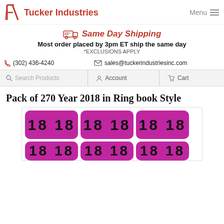Tucker Industries — Menu
Same Day Shipping — Most order placed by 3pm ET ship the same day *EXCLUSIONS APPLY
(302) 436-4240 | sales@tuckerindustriesinc.com
Search Products | Account | Cart
Pack of 270 Year 2018 in Ring book Style
[Figure (photo): Product image showing bingo-style year labels with number 18 on purple/magenta rounded rectangles, arranged in a grid pattern. Two full rows visible plus partial third row.]